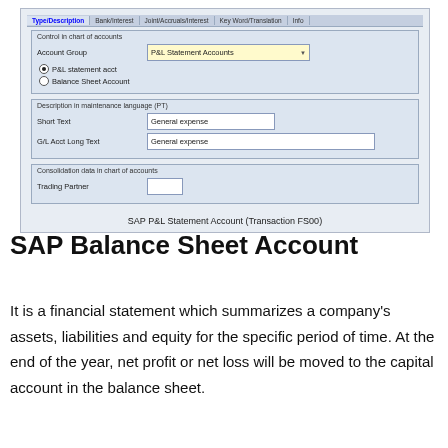[Figure (screenshot): SAP P&L Statement Account form (Transaction FS00) showing Control in chart of accounts section with Account Group dropdown set to 'P&L Statement Accounts', P&L statement acct radio selected, Description in maintenance language (PT) section with Short Text and G/L Acct Long Text both set to 'General expense', and Consolidation data section with Trading Partner field.]
SAP P&L Statement Account (Transaction FS00)
SAP Balance Sheet Account
It is a financial statement which summarizes a company's assets, liabilities and equity for the specific period of time. At the end of the year, net profit or net loss will be moved to the capital account in the balance sheet.